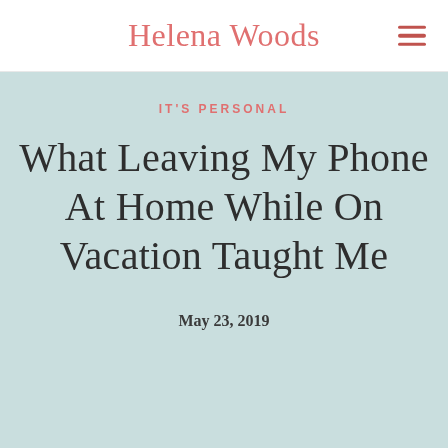Helena Woods
IT'S PERSONAL
What Leaving My Phone At Home While On Vacation Taught Me
May 23, 2019